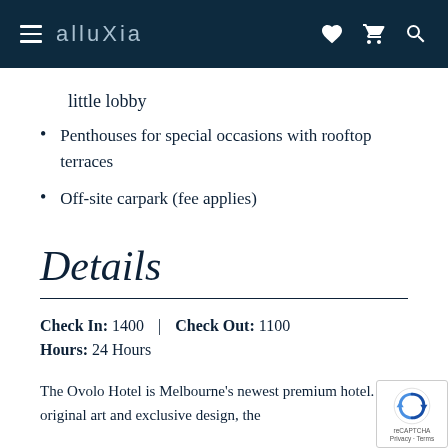≡ alluXia ♥ 🛒 🔍
little lobby
Penthouses for special occasions with rooftop terraces
Off-site carpark (fee applies)
Details
Check In: 1400  |  Check Out: 1100
Hours: 24 Hours
The Ovolo Hotel is Melbourne's newest premium hotel. With original art and exclusive design, the